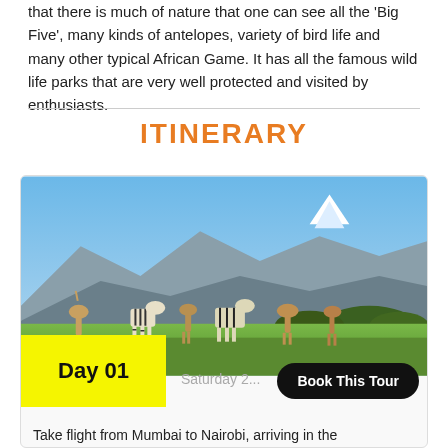that there is much of nature that one can see all the 'Big Five', many kinds of antelopes, variety of bird life and many other typical African Game. It has all the famous wild life parks that are very well protected and visited by enthusiasts.
ITINERARY
[Figure (photo): Zebras and antelopes grazing on a green plain with rugged mountains and a snow-capped peak (Mount Kenya) in the background under a blue sky.]
Day 01
Saturday 2...
Book This Tour
Take flight from Mumbai to Nairobi, arriving in the